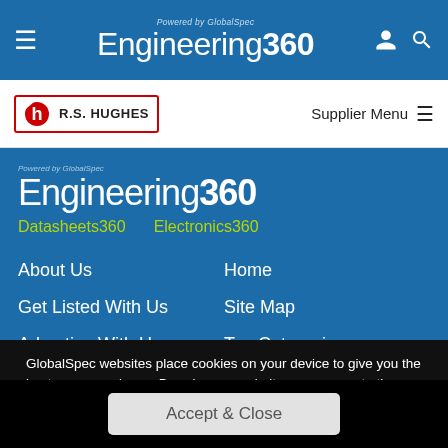Engineering 360 - Powered by GlobalSpec
[Figure (logo): R.S. Hughes supplier logo]
Supplier Menu
Powered by GlobalSpec
Engineering 360
Datasheets360
Electronics360
About Us
Home
Get Listed With Us
Site Map
Advertise With Us
Top Categories
GlobalSpec websites place cookies on your device to give you the best user experience. By using our websites, you agree to the placement of these cookies. To learn more, read our Privacy Policy
Accept & Close